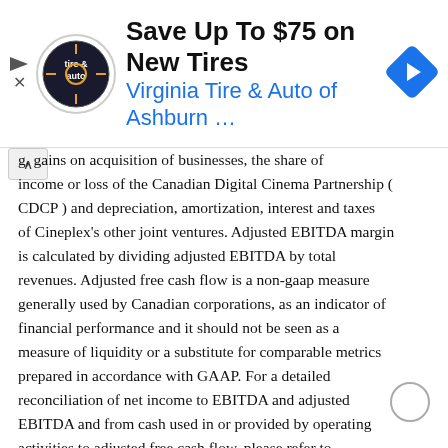[Figure (other): Advertisement banner: Virginia Tire & Auto of Ashburn - Save Up To $75 on New Tires]
g, gains on acquisition of businesses, the share of income or loss of the Canadian Digital Cinema Partnership ( CDCP ) and depreciation, amortization, interest and taxes of Cineplex's other joint ventures. Adjusted EBITDA margin is calculated by dividing adjusted EBITDA by total revenues. Adjusted free cash flow is a non-gaap measure generally used by Canadian corporations, as an indicator of financial performance and it should not be seen as a measure of liquidity or a substitute for comparable metrics prepared in accordance with GAAP. For a detailed reconciliation of net income to EBITDA and adjusted EBITDA and from cash used in or provided by operating activities to adjusted free cash flow, please refer to Cineplex's management's discussion and analysis filed on Earnings per Share Metrics The three months and year ended December 31, 2012 include a gain on the acquisition of four theatres acquired from AMC Entertainment Inc. of $0.9 million and $24.8 million, respectively. Cineplex has